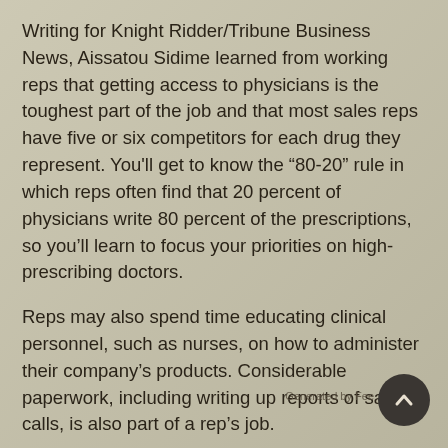Writing for Knight Ridder/Tribune Business News, Aissatou Sidime learned from working reps that getting access to physicians is the toughest part of the job and that most sales reps have five or six competitors for each drug they represent. You'll get to know the ‘80-20” rule in which reps often find that 20 percent of physicians write 80 percent of the prescriptions, so you’ll learn to focus your priorities on high-prescribing doctors.
Reps may also spend time educating clinical personnel, such as nurses, on how to administer their company’s products. Considerable paperwork, including writing up reports of sales calls, is also part of a rep’s job.
A Noesis survey further reported that knowledge and training, ongoing communication, sales tools and marketing programs, and motivation and incentives are the pillars that make a rep effective and successful. Reps want to learn more about disease states and competitors’ brands, the